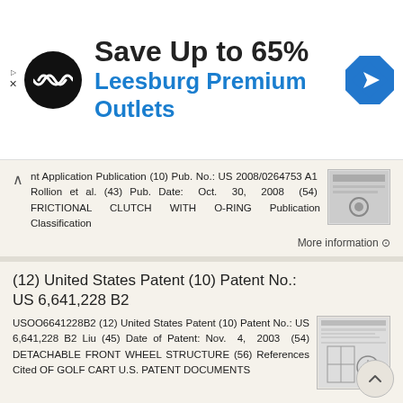[Figure (infographic): Advertisement banner: Save Up to 65% at Leesburg Premium Outlets with logo and navigation icon]
nt Application Publication (10) Pub. No.: US 2008/0264753 A1 Rollion et al. (43) Pub. Date: Oct. 30, 2008 (54) FRICTIONAL CLUTCH WITH O-RING Publication Classification
More information →
(12) United States Patent (10) Patent No.: US 6,641,228 B2
USOO6641228B2 (12) United States Patent (10) Patent No.: US 6,641,228 B2 Liu (45) Date of Patent: Nov. 4, 2003 (54) DETACHABLE FRONT WHEEL STRUCTURE (56) References Cited OF GOLF CART U.S. PATENT DOCUMENTS